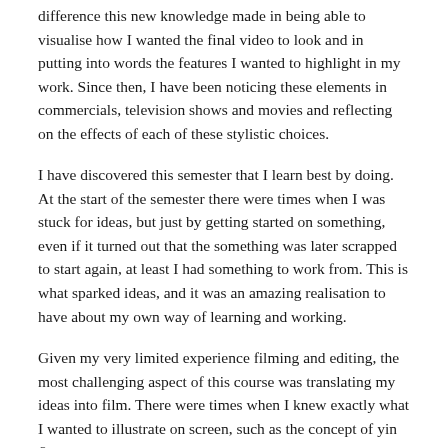difference this new knowledge made in being able to visualise how I wanted the final video to look and in putting into words the features I wanted to highlight in my work. Since then, I have been noticing these elements in commercials, television shows and movies and reflecting on the effects of each of these stylistic choices.
I have discovered this semester that I learn best by doing. At the start of the semester there were times when I was stuck for ideas, but just by getting started on something, even if it turned out that the something was later scrapped to start again, at least I had something to work from. This is what sparked ideas, and it was an amazing realisation to have about my own way of learning and working.
Given my very limited experience filming and editing, the most challenging aspect of this course was translating my ideas into film. There were times when I knew exactly what I wanted to illustrate on screen, such as the concept of yin &